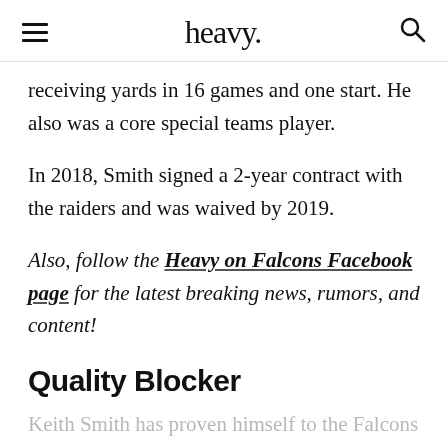heavy.
receiving yards in 16 games and one start. He also was a core special teams player.
In 2018, Smith signed a 2-year contract with the raiders and was waived by 2019.
Also, follow the Heavy on Falcons Facebook page for the latest breaking news, rumors, and content!
Quality Blocker
Keith Smith has proven himself to the Falcons to be a quality blocker, hence his 3-year deal with the